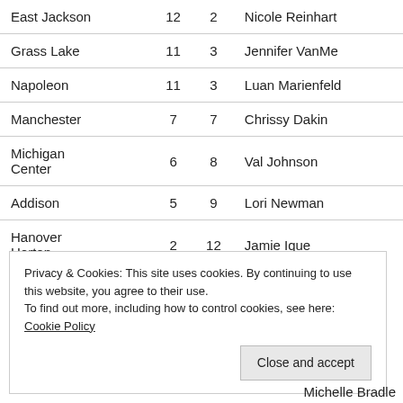| Team | W | L | Coach |
| --- | --- | --- | --- |
| East Jackson | 12 | 2 | Nicole Reinhart |
| Grass Lake | 11 | 3 | Jennifer VanMe… |
| Napoleon | 11 | 3 | Luan Marienfeld… |
| Manchester | 7 | 7 | Chrissy Dakin |
| Michigan Center | 6 | 8 | Val Johnson |
| Addison | 5 | 9 | Lori Newman |
| Hanover Horton | 2 | 12 | Jamie Ique |
Privacy & Cookies: This site uses cookies. By continuing to use this website, you agree to their use.
To find out more, including how to control cookies, see here: Cookie Policy
Close and accept
Michelle Bradle